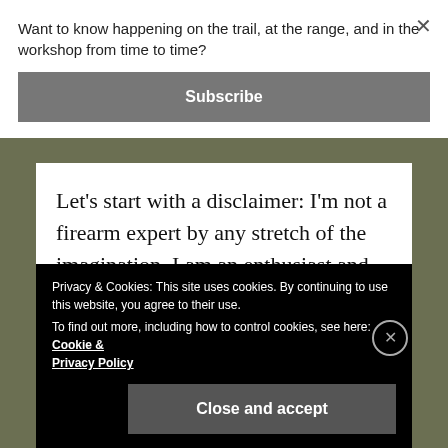Want to know happening on the trail, at the range, and in the workshop from time to time?
Subscribe
Let's start with a disclaimer: I'm not a firearm expert by any stretch of the imagination. I am an enthusiast and an aspiring gun geek at best. So feel free to dismiss anything that I say here.
Privacy & Cookies: This site uses cookies. By continuing to use this website, you agree to their use.
To find out more, including how to control cookies, see here: Cookie & Privacy Policy
Close and accept